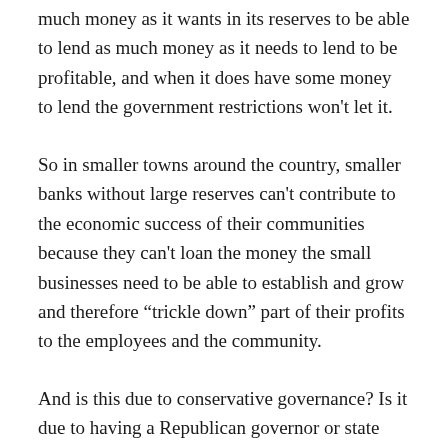much money as it wants in its reserves to be able to lend as much money as it needs to lend to be profitable, and when it does have some money to lend the government restrictions won't let it.
So in smaller towns around the country, smaller banks without large reserves can't contribute to the economic success of their communities because they can't loan the money the small businesses need to be able to establish and grow and therefore “trickle down” part of their profits to the employees and the community.
And is this due to conservative governance? Is it due to having a Republican governor or state legislature? No. It is due to massive